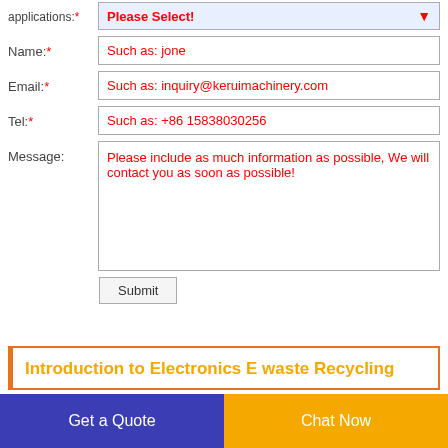applications:* Please Select!
Name:* Such as: jone
Email:* Such as: inquiry@keruimachinery.com
Tel:* Such as: +86 15838030256
Message: Please include as much information as possible, We will contact you as soon as possible!
Submit
Introduction to Electronics E waste Recycling
Get a Quote
Chat Now